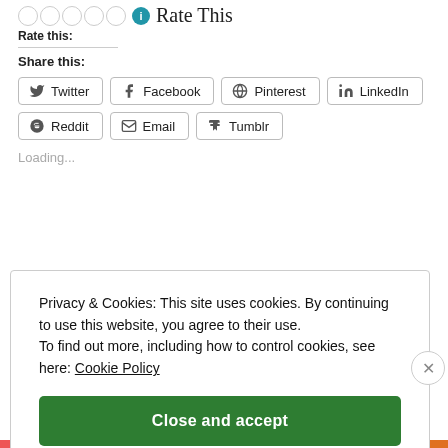Rate this:
Rate This
Share this:
Twitter
Facebook
Pinterest
LinkedIn
Reddit
Email
Tumblr
Loading...
Privacy & Cookies: This site uses cookies. By continuing to use this website, you agree to their use. To find out more, including how to control cookies, see here: Cookie Policy
Close and accept